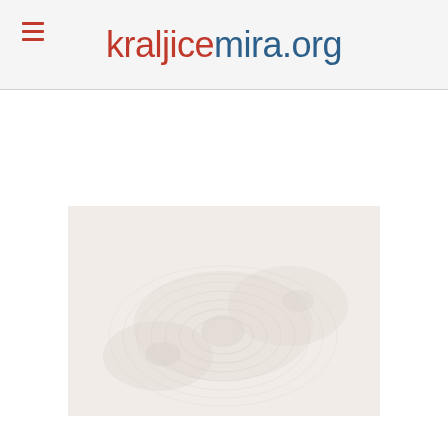kraljicemira.org
[Figure (photo): Faded/washed-out image appearing to show a zen garden or stone/rock formation with circular ripple patterns, very light and desaturated]